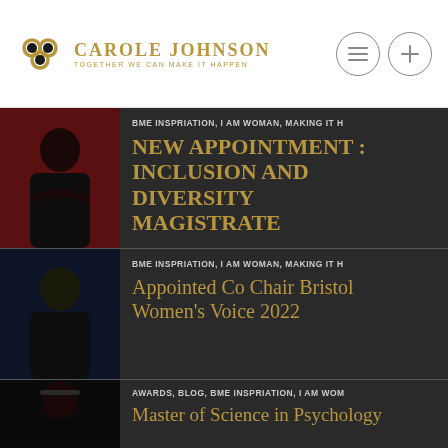Carole Johnson — Together we can make it happen
BME INSPRIATION, I AM WOMAN, MAKING IT H
NEW APPOINTMENT : INCLUSION AND DIVERSITY MAGISTRATE
BME INSPRIATION, I AM WOMAN, MAKING IT H
Appointed Co Chair Bristol Women's Voice 2022
AWARDS, BLOG, BME INSPRIATION, I AM WOM
Master of Science in Psychology